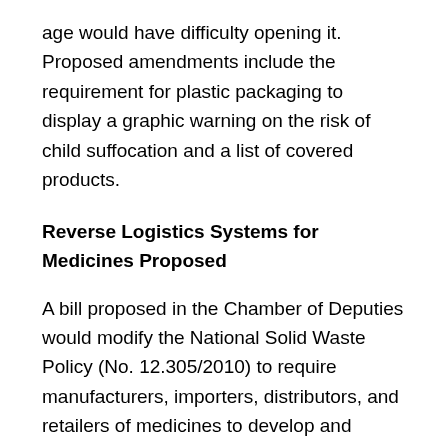age would have difficulty opening it. Proposed amendments include the requirement for plastic packaging to display a graphic warning on the risk of child suffocation and a list of covered products.
Reverse Logistics Systems for Medicines Proposed
A bill proposed in the Chamber of Deputies would modify the National Solid Waste Policy (No. 12.305/2010) to require manufacturers, importers, distributors, and retailers of medicines to develop and implement a reverse logistics system for their product wastes and packaging, while consumers would be responsible for returning these items to retailers or distributors to facilitate the process.